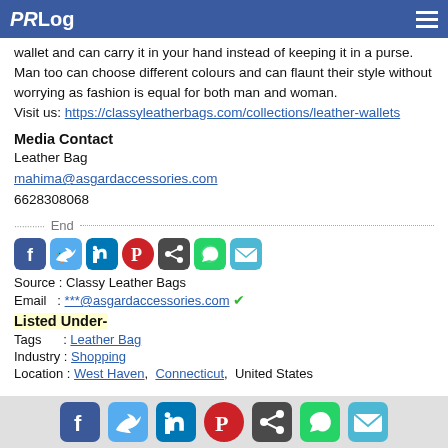PRLog
wallet and can carry it in your hand instead of keeping it in a purse. Man too can choose different colours and can flaunt their style without worrying as fashion is equal for both man and woman.
Visit us: https://classyleatherbags.com/collections/leather-wallets
Media Contact
Leather Bag
mahima@asgardaccessories.com
6628308068
End
[Figure (infographic): Row of social media share icons: Facebook, Twitter, LinkedIn, Pinterest, Share, WhatsApp, Email]
Source : Classy Leather Bags
Email   : ***@asgardaccessories.com ✔
Listed Under-
Tags      : Leather Bag
Industry : Shopping
Location : West Haven,  Connecticut,  United States
Social share icons: Facebook, Twitter, LinkedIn, Pinterest, Share, WhatsApp, Email